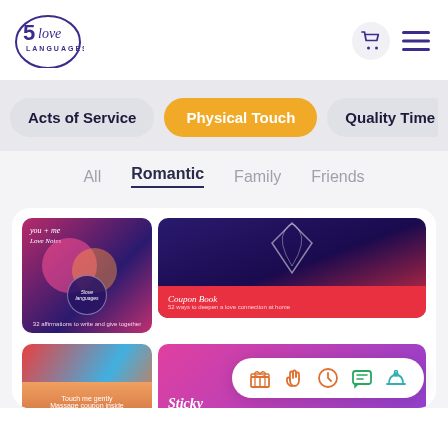[Figure (logo): 5 Love Languages logo — circular text with script and serif lettering in navy blue]
[Figure (screenshot): Navigation header with cart icon and hamburger menu in navy]
[Figure (infographic): Category filter pills: Acts of Service (inactive), Physical Touch (active/orange), Quality Time (inactive, partially visible)]
All  Romantic  Family  Friends
[Figure (photo): Product card showing love notes and coupon book items (You + Me Love Notes, 5 Love Languages Coupon Book) and partial product images at bottom. Bottom-right floating icon tray with gift, hand, clock, chat, and bell icons.]